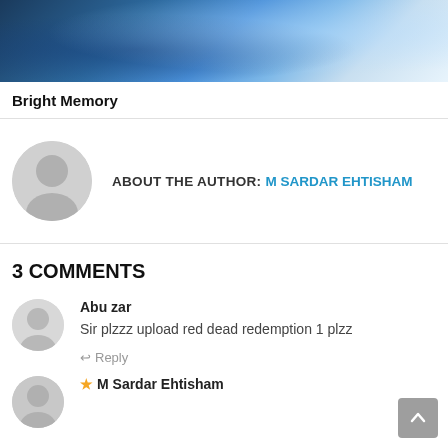[Figure (photo): Banner image for the game Bright Memory showing a sci-fi action scene with a character in futuristic armor against a blue-toned background with mountains and a city.]
Bright Memory
ABOUT THE AUTHOR: M SARDAR EHTISHAM
3 COMMENTS
Abu zar
Sir plzzz upload red dead redemption 1 plzz
↩ Reply
★ M Sardar Ehtisham